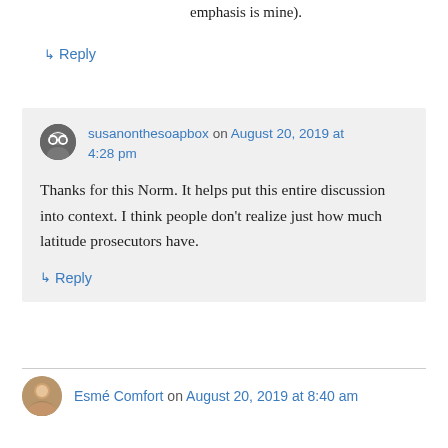emphasis is mine).
↳ Reply
susanonthesoapbox on August 20, 2019 at 4:28 pm
Thanks for this Norm. It helps put this entire discussion into context. I think people don't realize just how much latitude prosecutors have.
↳ Reply
Esmé Comfort on August 20, 2019 at 8:40 am